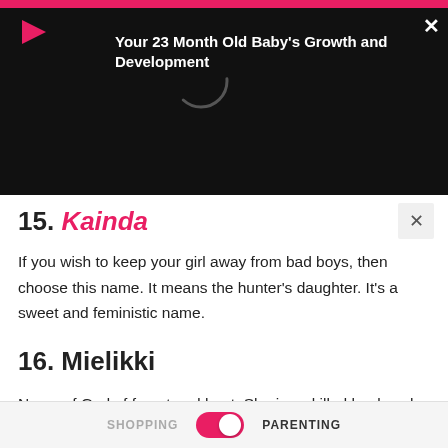[Figure (screenshot): Black overlay ad banner with pink top bar, play button icon, loading spinner, close X button, and white bold text reading 'Your 23 Month Old Baby's Growth and Development']
15. Kainda
If you wish to keep your girl away from bad boys, then choose this name. It means the hunter's daughter. It's a sweet and feministic name.
16. Mielikki
Name of God of forest and hunt. She is a skilled healer who can quickly heal animal paws. It was derived from a Finnish word.
SHOPPING   PARENTING